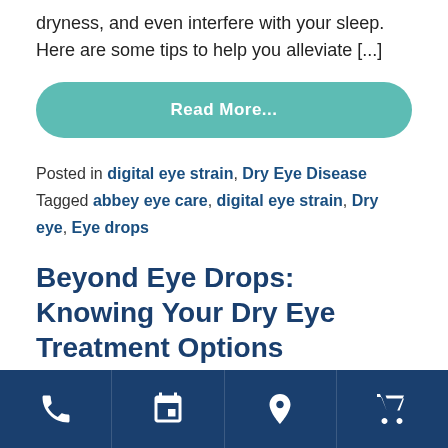dryness, and even interfere with your sleep. Here are some tips to help you alleviate [...]
Read More...
Posted in digital eye strain, Dry Eye Disease   Tagged abbey eye care, digital eye strain, Dry eye, Eye drops
Beyond Eye Drops: Knowing Your Dry Eye Treatment Options
Posted on February 7, 2020 by Dr. Tina Goodhew
phone | calendar | location | cart